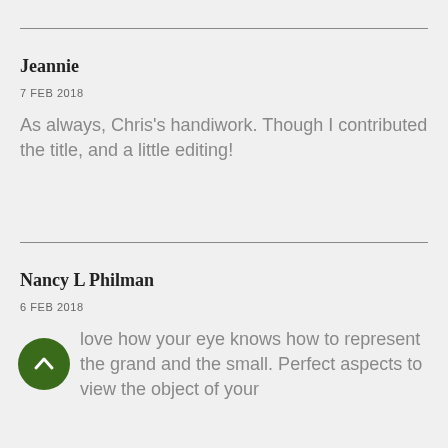Jeannie
7 FEB 2018
As always, Chris's handiwork. Though I contributed the title, and a little editing!
Nancy L Philman
6 FEB 2018
I love how your eye knows how to represent the grand and the small. Perfect aspects to view the object of your